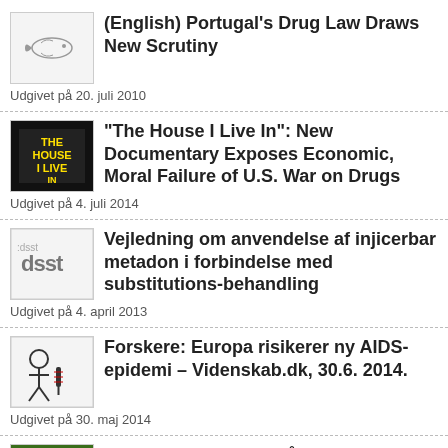(English) Portugal's Drug Law Draws New Scrutiny
Udgivet på 20. juli 2010
“The House I Live In”: New Documentary Exposes Economic, Moral Failure of U.S. War on Drugs
Udgivet på 4. juli 2014
Vejledning om anvendelse af injicerbar metadon i forbindelse med substitutions-behandling
Udgivet på 4. april 2013
Forskere: Europa risikerer ny AIDS-epidemi – Videnskab.dk, 30.6. 2014.
Udgivet på 30. maj 2014
BrugerForeningen i går – i dag – og i morgen
Udgivet på 18. september 2013